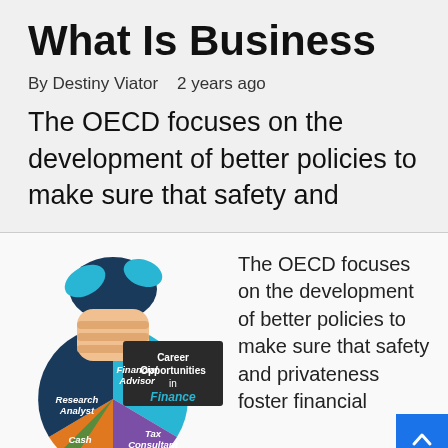What Is Business
By Destiny Viator   2 years ago
The OECD focuses on the development of better policies to make sure that safety and
[Figure (infographic): Career Opportunities in Finance infographic showing a hand holding a money bag with a pie chart divided into sections labeled: Research Analyst, Financial Advisor, Tax Consultant, Cash Manager. A dark banner reads 'Career Opportunities in Finance'.]
The OECD focuses on the development of better policies to make sure that safety and privateness foster financial